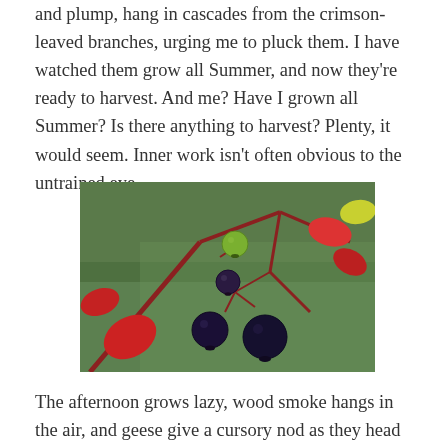and plump, hang in cascades from the crimson-leaved branches, urging me to pluck them. I have watched them grow all Summer, and now they're ready to harvest. And me? Have I grown all Summer? Is there anything to harvest? Plenty, it would seem. Inner work isn't often obvious to the untrained eye.
[Figure (photo): Close-up photograph of dark purple-black berries and one green berry hanging from red-stemmed branches with red autumn leaves, against a blurred green grassy background.]
The afternoon grows lazy, wood smoke hangs in the air, and geese give a cursory nod as they head south. Against the apricot-hued skyline, apples cling to the